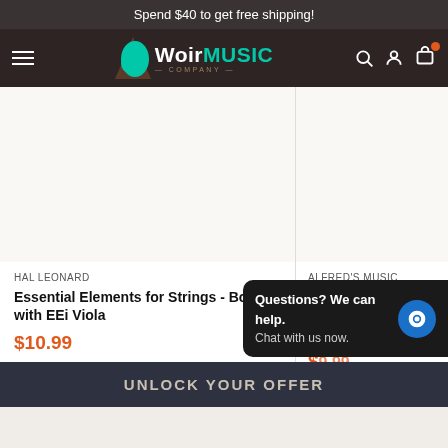Spend $40 to get free shipping!
[Figure (logo): Wolr Music Company logo with teal leaf and dark background navigation bar with hamburger menu, search, account, and cart icons]
[Figure (photo): Left product image area - Essential Elements for Strings Book 1 with EEi Viola (blank/white product image area)]
HAL LEONARD
Essential Elements for Strings - Book 1 with EEi Viola
$10.99
No reviews
[Figure (photo): Right product image area - Sound Innovations for Orchestra Book 2 (blank/white product image area)]
ALFRED'S MUSIC
Sound Innovations for Orchestra, Book 2 -
[Figure (screenshot): Chat widget overlay: Questions? We can help. Chat with us now. with blue chat bubble icon]
UNLOCK YOUR OFFER